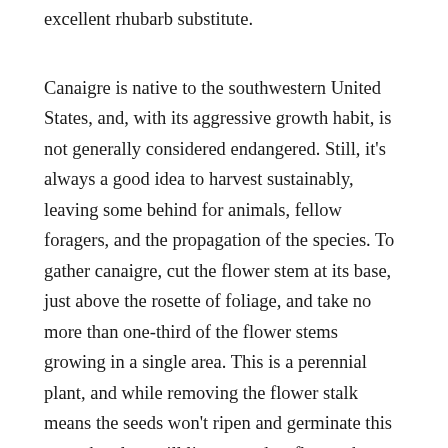excellent rhubarb substitute.
Canaigre is native to the southwestern United States, and, with its aggressive growth habit, is not generally considered endangered. Still, it's always a good idea to harvest sustainably, leaving some behind for animals, fellow foragers, and the propagation of the species. To gather canaigre, cut the flower stem at its base, just above the rosette of foliage, and take no more than one-third of the flower stems growing in a single area. This is a perennial plant, and while removing the flower stalk means the seeds won't ripen and germinate this year, the plant will live on and re-flower the following year.
The juice of canaigre stems has traditionally been used to make a refreshing tea in the Southwest. To juice your